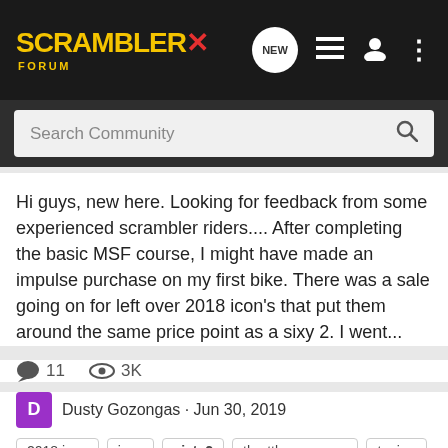SCRAMBLER X FORUM — navigation header with search bar
Hi guys, new here. Looking for feedback from some experienced scrambler riders.... After completing the basic MSF course, I might have made an impulse purchase on my first bike. There was a sale going on for left over 2018 icon's that put them around the same price point as a sixy 2. I went...
11 comments · 3K views · Dusty Gozongas · Jun 30, 2019
Tags: 2018 icon, icon, sixty2, throttle response, tuning
Torque Specs for Sixty2/HashTag
Ducati Scrambler: Sixty2